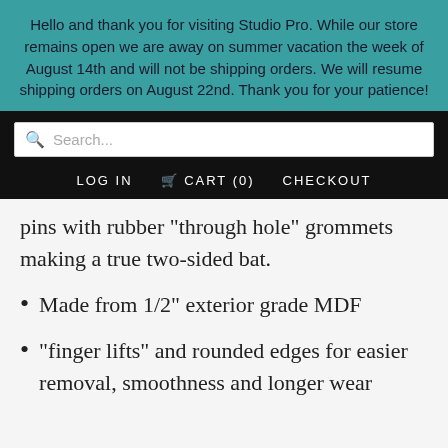Hello and thank you for visiting Studio Pro. While our store remains open we are away on summer vacation the week of August 14th and will not be shipping orders. We will resume shipping orders on August 22nd. Thank you for your patience!
Search...
LOG IN   CART (0)   CHECKOUT
pins with rubber "through hole" grommets making a true two-sided bat.
Made from 1/2" exterior grade MDF
"finger lifts" and rounded edges for easier removal, smoothness and longer wear